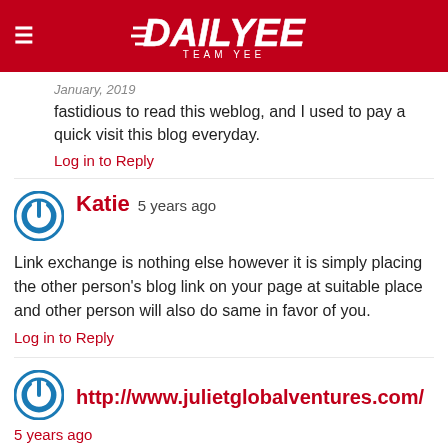DAILYEE TEAM YEE
fastidious to read this weblog, and I used to pay a quick visit this blog everyday.
Log in to Reply
Katie  5 years ago
Link exchange is nothing else however it is simply placing the other person's blog link on your page at suitable place and other person will also do same in favor of you.
Log in to Reply
http://www.julietglobalventures.com/
5 years ago
I'm amazed, I have to admit. Seldom do I come across a blog that's both equally educative and